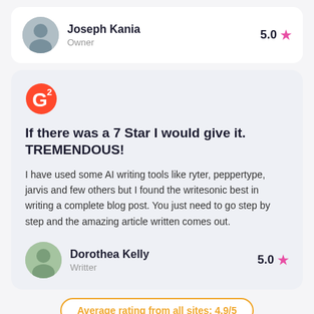Joseph Kania
Owner
5.0
If there was a 7 Star I would give it. TREMENDOUS!
I have used some AI writing tools like ryter, peppertype, jarvis and few others but I found the writesonic best in writing a complete blog post. You just need to go step by step and the amazing article written comes out.
Dorothea Kelly
Writter
5.0
Average rating from all sites: 4.9/5